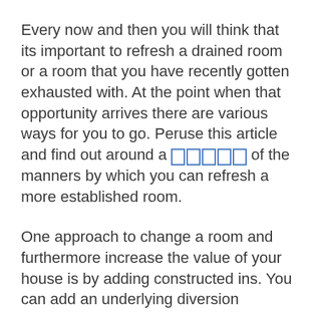Every now and then you will think that its important to refresh a drained room or a room that you have recently gotten exhausted with. At the point when that opportunity arrives there are various ways for you to go. Peruse this article and find out around a [link] of the manners by which you can refresh a more established room.
One approach to change a room and furthermore increase the value of your house is by adding constructed ins. You can add an underlying diversion territory or some shelves. You can even add a seat with capacity underneath a window in your room or breakfast territory. The decisions are really unending and the end-product will be a live